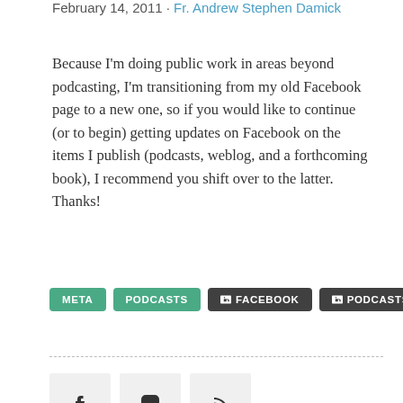February 14, 2011 · Fr. Andrew Stephen Damick
Because I'm doing public work in areas beyond podcasting, I'm transitioning from my old Facebook page to a new one, so if you would like to continue (or to begin) getting updates on Facebook on the items I publish (podcasts, weblog, and a forthcoming book), I recommend you shift over to the latter. Thanks!
META
PODCASTS
FACEBOOK
PODCASTS
[Figure (infographic): Social media icons: Facebook (f), Instagram (camera), RSS (wifi signal)]
EMAIL SUBSCRIPTION
Enter your email address to subscribe to this blog and